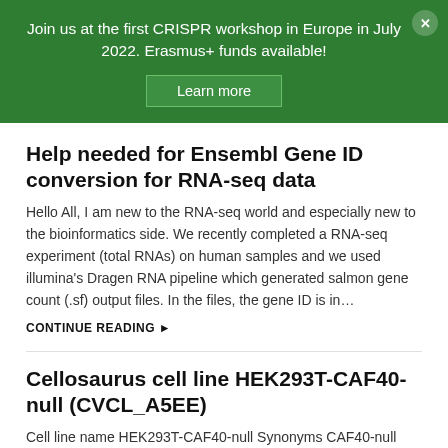Join us at the first CRISPR workshop in Europe in July 2022. Erasmus+ funds available!
Learn more
Help needed for Ensembl Gene ID conversion for RNA-seq data
Hello All, I am new to the RNA-seq world and especially new to the bioinformatics side. We recently completed a RNA-seq experiment (total RNAs) on human samples and we used illumina's Dragen RNA pipeline which generated salmon gene count (.sf) output files. In the files, the gene ID is in…
CONTINUE READING ▶
Cellosaurus cell line HEK293T-CAF40-null (CVCL_A5EE)
Cell line name HEK293T-CAF40-null Synonyms CAF40-null HEK293T Accession CVCL_A5EE Resource Identification Initiative To cite this